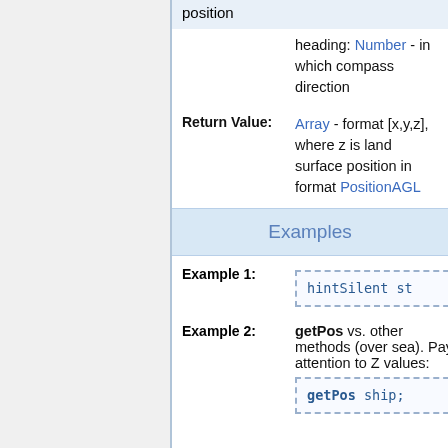position
heading: Number - in which compass direction
Return Value:
Array - format [x,y,z], where z is land surface position in format PositionAGL
Examples
Example 1:
hintSilent st
Example 2:
getPos vs. other methods (over sea). Pay attention to Z values:
getPos ship;